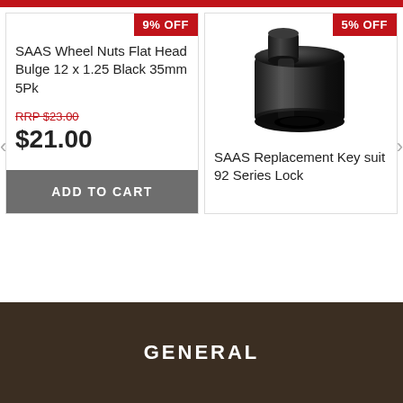[Figure (other): Red top navigation bar stripe]
9% OFF
SAAS Wheel Nuts Flat Head Bulge 12 x 1.25 Black 35mm 5Pk
RRP $23.00
$21.00
ADD TO CART
5% OFF
[Figure (photo): Black cylindrical SAAS replacement key socket tool]
SAAS Replacement Key suit 92 Series Lock
GENERAL